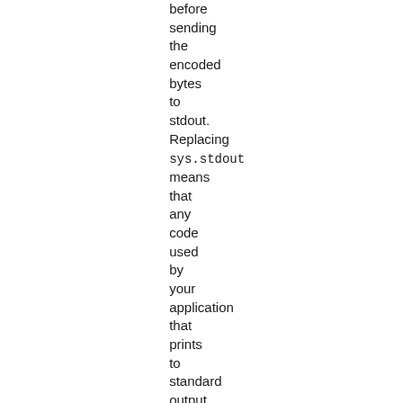before sending the encoded bytes to stdout. Replacing sys.stdout means that any code used by your application that prints to standard output will